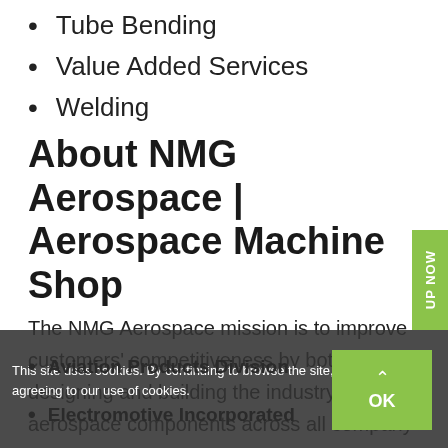Tube Bending
Value Added Services
Welding
About NMG Aerospace | Aerospace Machine Shop
The NMG Aerospace mission is to improve customers' competitiveness by both designing and building the industry's best aerospace components across all company divisions.
Aviation Products Division
Electromotive Incorporated
This site uses cookies. By continuing to browse the site, you are agreeing to our use of cookies.